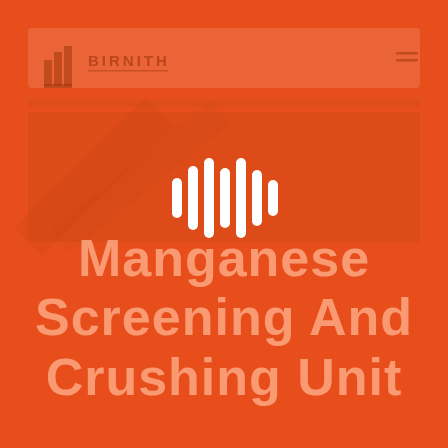[Figure (screenshot): Faded orange-tinted screenshot of the Birnith website with logo, navigation bar, and a hero image area in the background.]
[Figure (other): White audio waveform / sound bar icon centered in the page, consisting of 7 vertical bars of varying heights.]
Manganese Screening And Crushing Unit